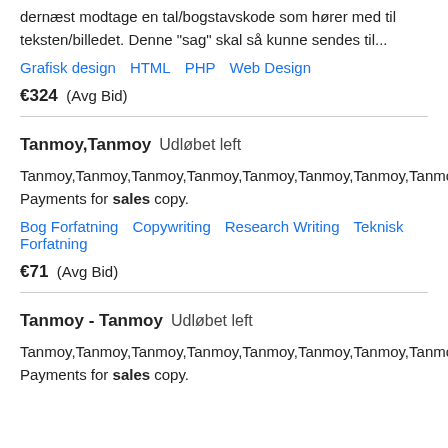dernæst modtage en tal/bogstavskode som hører med til teksten/billedet. Denne "sag" skal så kunne sendes til...
Grafisk design   HTML   PHP   Web Design
€324  (Avg Bid)
Tanmoy,Tanmoy   Udløbet left
Tanmoy,Tanmoy,Tanmoy,Tanmoy,Tanmoy,Tanmoy,Tanmoy,Tanmoy,Tanmoy,Tanmoy Payments for sales copy.
Bog Forfatning   Copywriting   Research Writing   Teknisk Forfatning
€71  (Avg Bid)
Tanmoy - Tanmoy   Udløbet left
Tanmoy,Tanmoy,Tanmoy,Tanmoy,Tanmoy,Tanmoy,Tanmoy,Tanmoy,Tanmoy,Tanmoy Payments for sales copy.